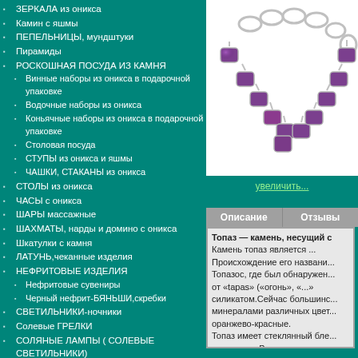ЗЕРКАЛА из оникса
Камин с яшмы
ПЕПЕЛЬНИЦЫ, мундштуки
Пирамиды
РОСКОШНАЯ ПОСУДА ИЗ КАМНЯ
Винные наборы из оникса в подарочной упаковке
Водочные наборы из оникса
Коньячные наборы из оникса в подарочной упаковке
Столовая посуда
СТУПЫ из оникса и яшмы
ЧАШКИ, СТАКАНЫ из оникса
СТОЛЫ из оникса
ЧАСЫ с оникса
ШАРЫ массажные
ШАХМАТЫ, нарды и домино с оникса
Шкатулки с камня
ЛАТУНЬ,чеканные изделия
НЕФРИТОВЫЕ ИЗДЕЛИЯ
Нефритовые сувениры
Черный нефрит-БЯНЬШИ,скребки
СВЕТИЛЬНИКИ-ночники
Солевые ГРЕЛКИ
СОЛЯНЫЕ ЛАМПЫ ( СОЛЕВЫЕ СВЕТИЛЬНИКИ)
Солевые лампы "КУСОЧКИ
[Figure (photo): Silver necklace with colorful gemstones]
увеличить...
Описание | Отзывы
Топаз — камень, несущий счастье. Камень топаз является... Происхождение его названия... Топазос, где был обнаружен... от «tapas» («огонь», «...» силикатом. Сейчас большинство... минералами различных цветов... оранжево-красные. Топаз имеет стеклянный блеск... прозрачен. В твердости... чувствителен к солнечному... счастью, природная расцветка...